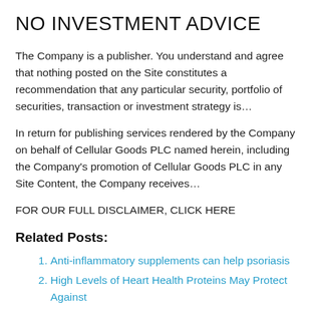NO INVESTMENT ADVICE
The Company is a publisher. You understand and agree that nothing posted on the Site constitutes a recommendation that any particular security, portfolio of securities, transaction or investment strategy is…
In return for publishing services rendered by the Company on behalf of Cellular Goods PLC named herein, including the Company's promotion of Cellular Goods PLC in any Site Content, the Company receives…
FOR OUR FULL DISCLAIMER, CLICK HERE
Related Posts:
Anti-inflammatory supplements can help psoriasis
High Levels of Heart Health Proteins May Protect Against